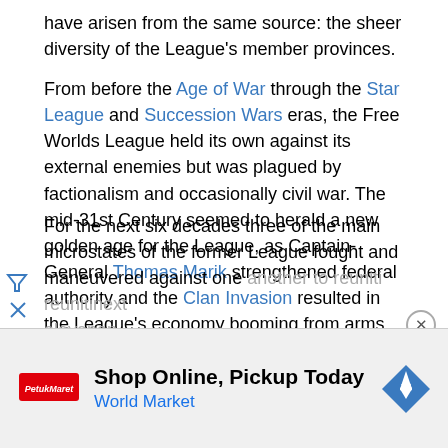have arisen from the same source: the sheer diversity of the League's member provinces.
From before the Age of War through the Star League and Succession Wars eras, the Free Worlds League held its own against its external enemies but was plagued by factionalism and occasionally civil war. The mid-31st Century seemed to herald a new golden age for the League, as Captain-General Thomas Marik strengthened federal authority and the Clan Invasion resulted in the League's economy booming from arms exports. But providing a haven for the Word of Blake following the ComStar Schism ultimately led to the realm's undoing, as Blakist activity during the Jihad ravaged the League and finally led to its balkanizing in 3079.
For the next six decades three of the main microstates of the former League fought and maneuvered against one another...
[Figure (other): Advertisement banner: Shop Online, Pickup Today — World Market]